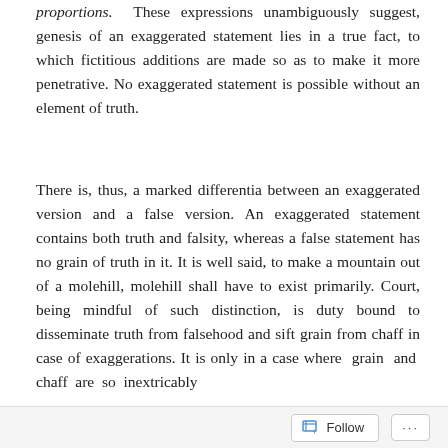proportions. These expressions unambiguously suggest, genesis of an exaggerated statement lies in a true fact, to which fictitious additions are made so as to make it more penetrative. No exaggerated statement is possible without an element of truth.
There is, thus, a marked differentia between an exaggerated version and a false version. An exaggerated statement contains both truth and falsity, whereas a false statement has no grain of truth in it. It is well said, to make a mountain out of a molehill, molehill shall have to exist primarily. Court, being mindful of such distinction, is duty bound to disseminate truth from falsehood and sift grain from chaff in case of exaggerations. It is only in a case where grain and chaff are so inextricably